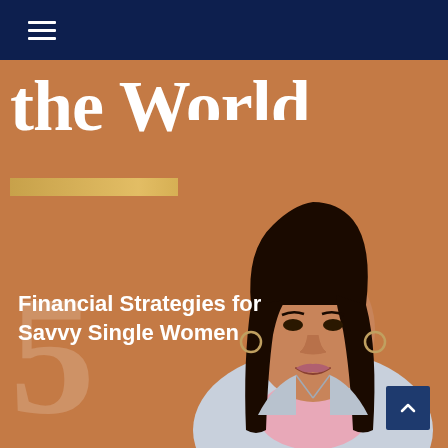Navigation bar with hamburger menu
the World
[Figure (photo): A woman of South Asian descent wearing a light blue blazer over a pink top, with long dark hair, smiling confidently against an orange-brown background. A large decorative number 5 is visible in the background.]
5 Financial Strategies for Savvy Single Women